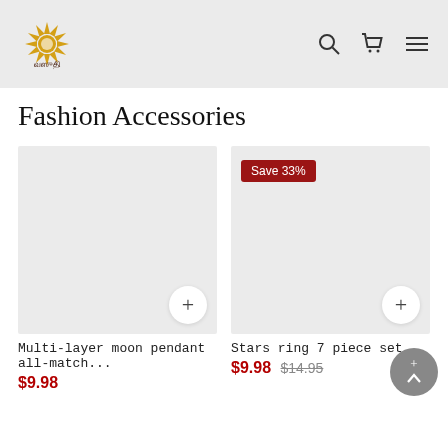Fashion accessories e-commerce website header with logo and navigation icons
Fashion Accessories
[Figure (photo): Product image placeholder (light gray) for Multi-layer moon pendant all-match]
Multi-layer moon pendant all-match...
$9.98
[Figure (photo): Product image placeholder (light gray) for Stars ring 7 piece set, with Save 33% badge]
Stars ring 7 piece set
$9.98 $14.95